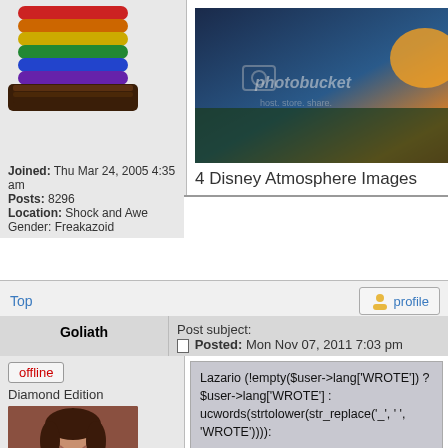[Figure (photo): Rainbow colored stacked rings/bracelets avatar image]
Joined: Thu Mar 24, 2005 4:35 am
Posts: 8296
Location: Shock and Awe
Gender: Freakazoid
[Figure (photo): Photobucket watermarked image showing a figure near water at sunset - 4 Disney Atmosphere Images]
4 Disney Atmosphere Images
Top
profile
Goliath
Post subject:
Posted: Mon Nov 07, 2011 7:03 pm
offline
Diamond Edition
[Figure (photo): User avatar photo of young woman smiling]
Joined: Tue Dec 09, 2008 8:35
Lazario (!empty($user->lang['WROTE']) ? $user->lang['WROTE'] : ucwords(strtolower(str_replace('_', ' ', 'WROTE')))):
Contrary to your statement, nobody treated this like it was the end of the world. But, again,